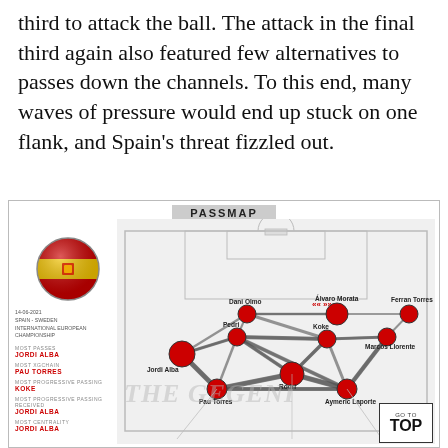third to attack the ball. The attack in the final third again also featured few alternatives to passes down the channels. To this end, many waves of pressure would end up stuck on one flank, and Spain's threat fizzled out.
[Figure (other): Spain passmap diagram for Spain vs Sweden International European Championship match. Shows player positions connected by weighted arrows indicating pass frequency. Players shown: Dani Olmo, Álvaro Morata, Ferran Torres, Pedri, Koke, Marcos Llorente, Jordi Alba, Rodri, Pau Torres, Aymeric Laporte. Sidebar shows Spain flag badge, match metadata, and stats: Most Passes: JORDI ALBA, Most xgChain: PAU TORRES, Most Progressive Passing: KOKE, Most Progressive Passing Received: JORDI ALBA, Most Centrality: JORDI ALBA.]